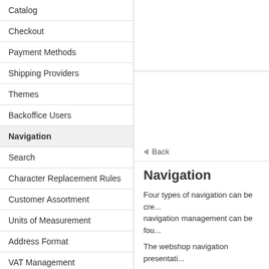Catalog
Checkout
Payment Methods
Shipping Providers
Themes
Backoffice Users
Navigation
Search
Character Replacement Rules
Customer Assortment
Units of Measurement
Address Format
VAT Management
Quick Order
Wish List
Last Viewed Products
Tell a Friend
Navigation
Four types of navigation can be created. Details about navigation management can be found...
The webshop navigation presentation...
[Figure (screenshot): Navigation settings panel with Save/Cancel buttons, General section, Main navigation section with Breadcrumb visible checkbox]